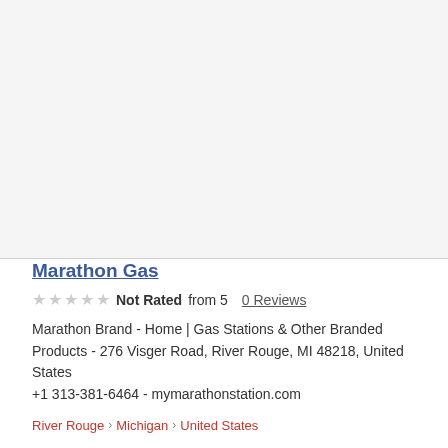[Figure (other): Large blank/grey top area placeholder]
Marathon Gas
Not Rated from 5   0 Reviews
Marathon Brand - Home | Gas Stations & Other Branded Products - 276 Visger Road, River Rouge, MI 48218, United States +1 313-381-6464 - mymarathonstation.com
River Rouge › Michigan › United States